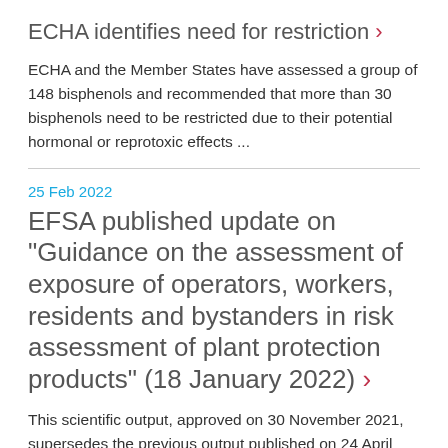ECHA identifies need for restriction >
ECHA and the Member States have assessed a group of 148 bisphenols and recommended that more than 30 bisphenols need to be restricted due to their potential hormonal or reprotoxic effects ...
25 Feb 2022
EFSA published update on "Guidance on the assessment of exposure of operators, workers, residents and bystanders in risk assessment of plant protection products" (18 January 2022) >
This scientific output, approved on 30 November 2021, supersedes the previous output published on 24 April